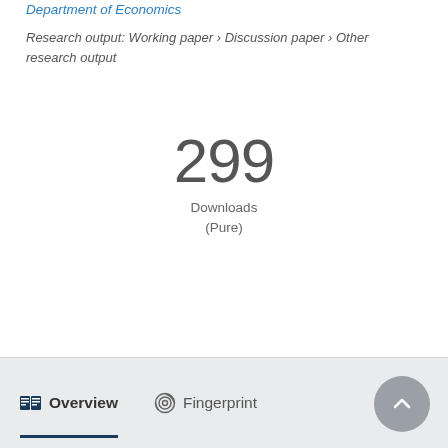Department of Economics
Research output: Working paper › Discussion paper › Other research output
299
Downloads
(Pure)
Overview  Fingerprint